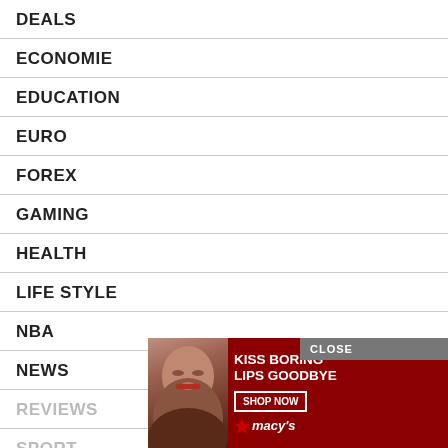DEALS
ECONOMIE
EDUCATION
EURO
FOREX
GAMING
HEALTH
LIFE STYLE
NBA
NEWS
REVIEWS
SPORT
[Figure (infographic): Advertisement banner: red background with woman's face, text 'KISS BORING LIPS GOODBYE', 'SHOP NOW' button, and Macy's star logo. Close button in top right.]